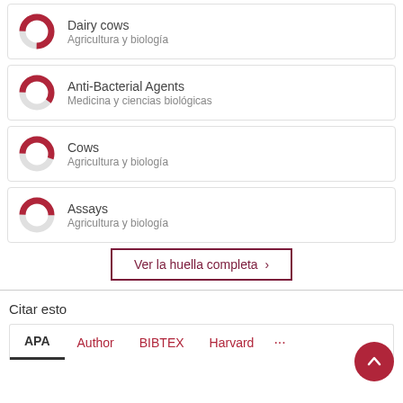[Figure (donut-chart): Donut chart for Dairy cows topic, partially filled in dark pink/crimson, approximately 75% filled]
Dairy cows
Agricultura y biología
[Figure (donut-chart): Donut chart for Anti-Bacterial Agents topic, approximately 60% filled in dark pink/crimson]
Anti-Bacterial Agents
Medicina y ciencias biológicas
[Figure (donut-chart): Donut chart for Cows topic, approximately 55% filled in dark pink/crimson]
Cows
Agricultura y biología
[Figure (donut-chart): Donut chart for Assays topic, approximately 50% filled in dark pink/crimson]
Assays
Agricultura y biología
Ver la huella completa ›
Citar esto
APA  Author  BIBTEX  Harvard  ...